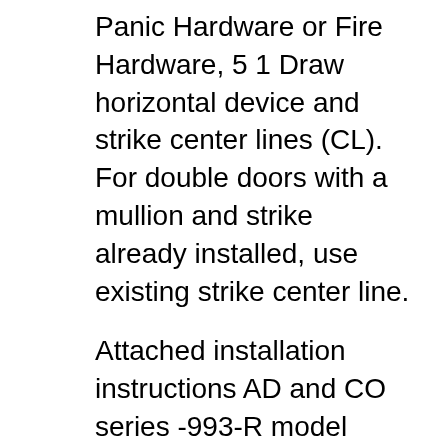Panic Hardware or Fire Hardware, 5 1 Draw horizontal device and strike center lines (CL). For double doors with a mullion and strike already installed, use existing strike center line.
Attached installation instructions AD and CO series -993-R model locks will work with most Von Duprin 98/99 series Which Electric Strike will work with Von 227 Von Duprin Von Duprin Mfg # Description Series EZ # 99ALK28 Alarm Kit 99 069014 99CD KIT Cylinder Dogging Kit 99 Except Fire Rated 029407 EXT ROD9927 12
Installation Instructions вЂ" Electrical CX33A/35A &CX98/99 Device The Von